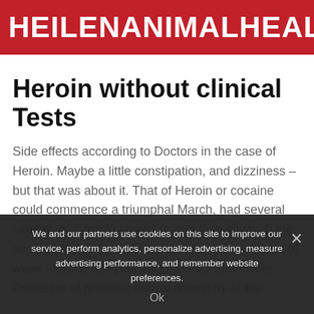HEILENANIMALHEALTH
Heroin without clinical Tests
Side effects according to Doctors in the case of Heroin. Maybe a little constipation, and dizziness – but that was about it. That of Heroin or cocaine could commence a triumphal March, had several causes. A: “Heroin comes from a time in which the accreditation criteria for medicines were still a lot of weak,” said a few years ago, Dieter Steinhilber, Professor of pharmaceutical chemistry at the
We and our partners use cookies on this site to improve our service, perform analytics, personalize advertising, measure advertising performance, and remember website preferences.